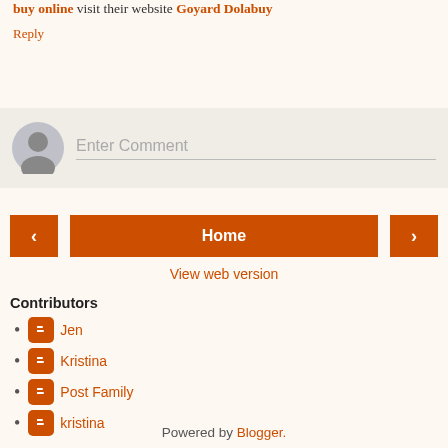buy online visit their website Goyard Dolabuy
Reply
[Figure (other): Comment entry area with avatar and placeholder text 'Enter Comment']
[Figure (other): Navigation bar with left arrow button, Home button, right arrow button]
View web version
Contributors
Jen
Kristina
Post Family
kristina
Powered by Blogger.